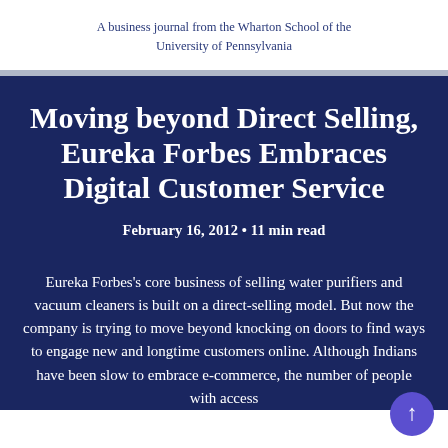A business journal from the Wharton School of the University of Pennsylvania
Moving beyond Direct Selling, Eureka Forbes Embraces Digital Customer Service
February 16, 2012 • 11 min read
Eureka Forbes's core business of selling water purifiers and vacuum cleaners is built on a direct-selling model. But now the company is trying to move beyond knocking on doors to find ways to engage new and longtime customers online. Although Indians have been slow to embrace e-commerce, the number of people with access